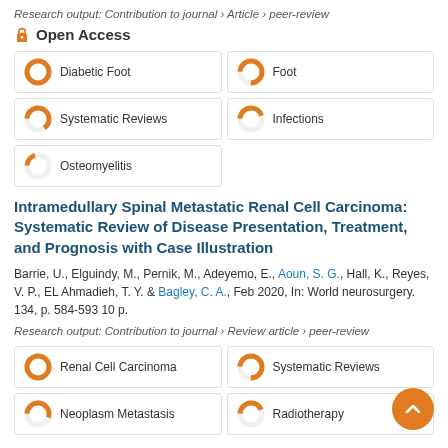Research output: Contribution to journal › Article › peer-review
Open Access
[Figure (infographic): Keyword badges with donut chart indicators: Diabetic Foot (100%), Foot (75%), Systematic Reviews (65%), Infections (45%), Osteomyelitis (20%)]
Intramedullary Spinal Metastatic Renal Cell Carcinoma: Systematic Review of Disease Presentation, Treatment, and Prognosis with Case Illustration
Barrie, U., Elguindy, M., Pernik, M., Adeyemo, E., Aoun, S. G., Hall, K., Reyes, V. P., EL Ahmadieh, T. Y. & Bagley, C. A., Feb 2020, In: World neurosurgery. 134, p. 584-593 10 p.
Research output: Contribution to journal › Review article › peer-review
[Figure (infographic): Keyword badges: Renal Cell Carcinoma (100%), Systematic Reviews (75%), Neoplasm Metastasis (partial), Radiotherapy (partial)]